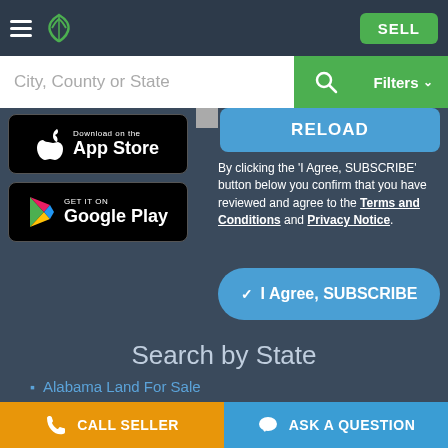LandCentury navigation bar with logo and SELL button
City, County or State
[Figure (screenshot): Download on the App Store badge]
[Figure (screenshot): GET IT ON Google Play badge]
RELOAD
By clicking the 'I Agree, SUBSCRIBE' button below you confirm that you have reviewed and agree to the Terms and Conditions and Privacy Notice.
✓ I Agree, SUBSCRIBE
Search by State
Alabama Land For Sale
Arizona Land For Sale
CALL SELLER | ASK A QUESTION